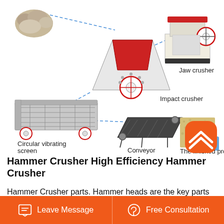[Figure (engineering-diagram): Diagram showing a crushing/screening production line with labeled equipment: stones/raw material, Jaw crusher (top right), Impact crusher (center), Circular vibrating screen (left), Conveyor (center bottom), and The finished product (sand, bottom right). Components connected by dashed arrows indicating process flow.]
Hammer Crusher High Efficiency Hammer Crusher
Hammer Crusher parts. Hammer heads are the key parts in hammer crusher or shredders to crush hard materials such as coal, gangues, ores, limestone and bricks. It is widely used in the sand making, quarry, mining, recycling,
Leave Message   Free Consultation